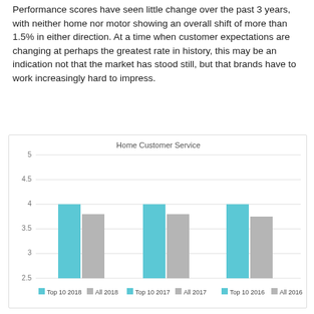Performance scores have seen little change over the past 3 years, with neither home nor motor showing an overall shift of more than 1.5% in either direction. At a time when customer expectations are changing at perhaps the greatest rate in history, this may be an indication not that the market has stood still, but that brands have to work increasingly hard to impress.
[Figure (grouped-bar-chart): Home Customer Service]